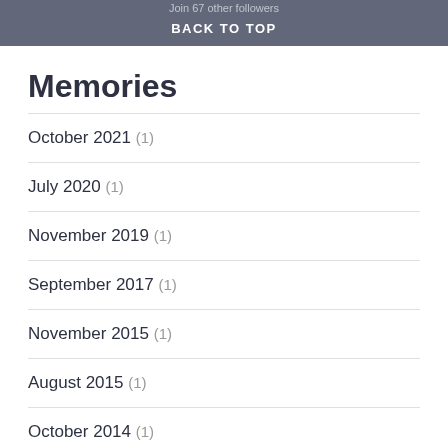Join 67 other followers BACK TO TOP
Memories
October 2021 (1)
July 2020 (1)
November 2019 (1)
September 2017 (1)
November 2015 (1)
August 2015 (1)
October 2014 (1)